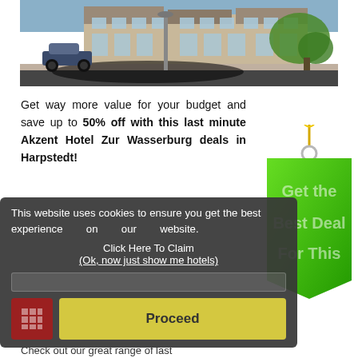[Figure (photo): Photo of Akzent Hotel Zur Wasserburg exterior with a small car parked in front, building with windows, greenery, and road]
Get way more value for your budget and save up to 50% off with this last minute Akzent Hotel Zur Wasserburg deals in Harpstedt!
[Figure (illustration): Green price tag graphic with 'Get the Best Deal For This' text]
This website uses cookies to ensure you get the best experience on our website.
Click Here To Claim
(Ok, now just show me hotels)
Proceed
Check out our great range of last